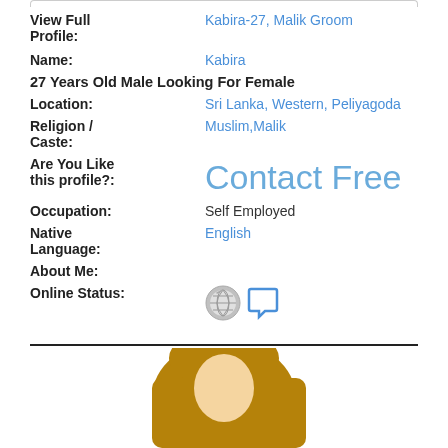View Full Profile: Kabira-27, Malik Groom
Name: Kabira
27 Years Old Male Looking For Female
Location: Sri Lanka, Western, Peliyagoda
Religion / Caste: Muslim,Malik
Are You Like this profile?: Contact Free
Occupation: Self Employed
Native Language: English
About Me:
Online Status:
[Figure (illustration): Generic avatar illustration showing a person silhouette with brown hijab/head covering and light skin face, partially visible at bottom of page]